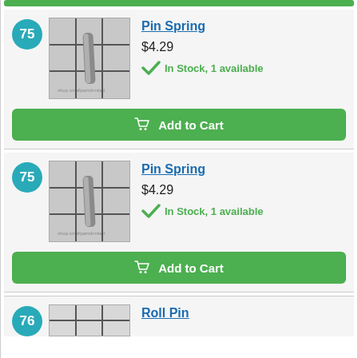[Figure (other): Green add to cart button (top, partial)]
[Figure (photo): Photo of a small metal pin spring part against grid background]
Pin Spring
$4.29
In Stock, 1 available
Add to Cart
[Figure (photo): Photo of a small metal pin spring part against grid background]
Pin Spring
$4.29
In Stock, 1 available
Add to Cart
Roll Pin